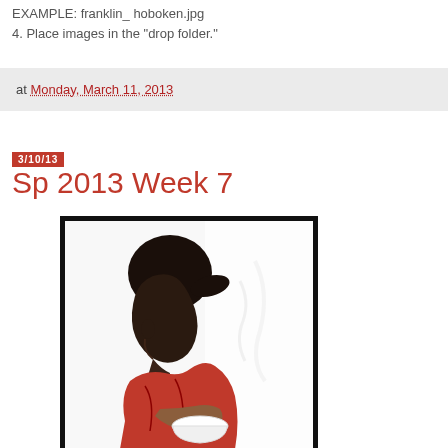EXAMPLE: franklin_ hoboken.jpg
4. Place images in the "drop folder."
at Monday, March 11, 2013
3/10/13
Sp 2013 Week 7
[Figure (photo): Black and white high-contrast photo of a young woman in a red top, shown in profile/three-quarter view, holding a white bowl or cup. The background is bright/blown out white. She has dark hair pulled back in a ponytail.]